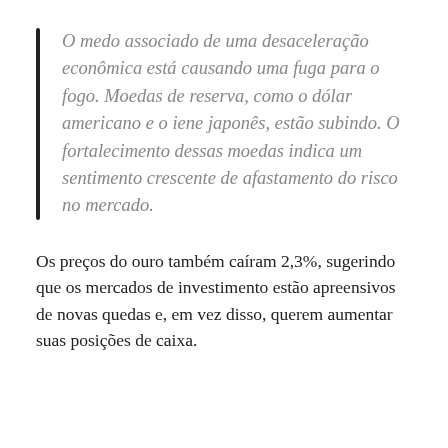O medo associado de uma desaceleração econômica está causando uma fuga para o fogo. Moedas de reserva, como o dólar americano e o iene japonês, estão subindo. O fortalecimento dessas moedas indica um sentimento crescente de afastamento do risco no mercado.
Os preços do ouro também caíram 2,3%, sugerindo que os mercados de investimento estão apreensivos de novas quedas e, em vez disso, querem aumentar suas posições de caixa.